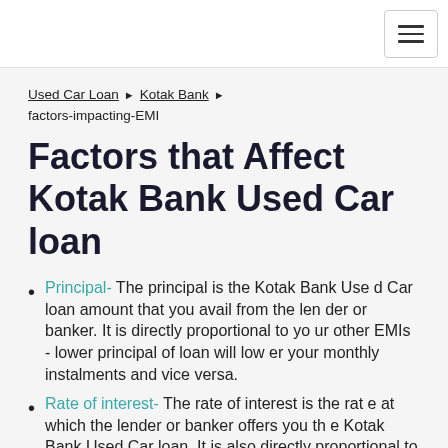Used Car Loan › Kotak Bank › factors-impacting-EMI
Factors that Affect Kotak Bank Used Car loan
Principal- The principal is the Kotak Bank Used Car loan amount that you avail from the lender or banker. It is directly proportional to your other EMIs - lower principal of loan will lower your monthly instalments and vice versa.
Rate of interest- The rate of interest is the rate at which the lender or banker offers you the Kotak Bank Used Car loan. It is also directly proportional to the value of your Kotak Bank...